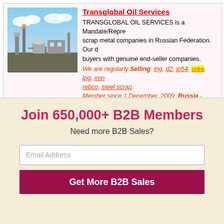Transglobal Oil Services
TRANSGLOBAL OIL SERVICES is a Mandate/Representative for oil and scrap metal companies in Russian Federation. Our duty is to connect the buyers with genuine end-seller companies.
We are regularly Selling: lng, d2, jp54, urea, lpg, iron ore, rebco, steel scrap.
Member since 1 December, 2009, Russia - Moskva
Primary Business Type(s): Agent, Buying Office, Importer / Exporter
Buy & Sell Offers: 11 Trade Leads posted by Transglobal Oil Services
Products: 0 - No Current Products
Tradexpress
We operate in four different areas: We connect our clients with what they need, taking into consideration quality, quantity a…
Join 650,000+ B2B Members
Need more B2B Sales?
Email Address
Get More B2B Sales